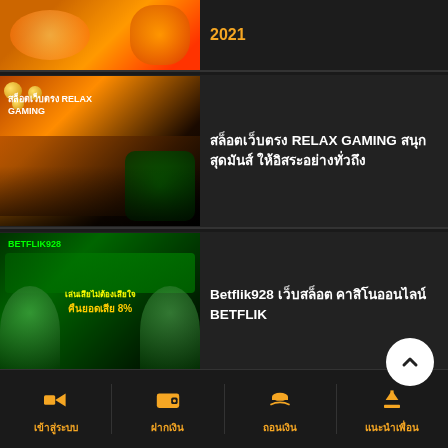[Figure (screenshot): Partial top card showing anime/game character promo image with orange background]
2021
[Figure (screenshot): สล็อตเว็บตรง RELAX GAMING promotional banner with slot game characters]
สล็อตเว็บตรง RELAX GAMING สนุกสุดมันส์ ให้อิสระอย่างทั่วถึง
[Figure (screenshot): Betflik928 casino website screenshot with green background and female characters]
Betflik928 เว็บสล็อต คาสิโนออนไลน์ BETFLIK
[Figure (screenshot): Purple themed Betflik promo banner partial]
BETFLIK | BETFLIX |
เข้าสู่ระบบ
ฝากเงิน
ถอนเงิน
แนะนำเพื่อน